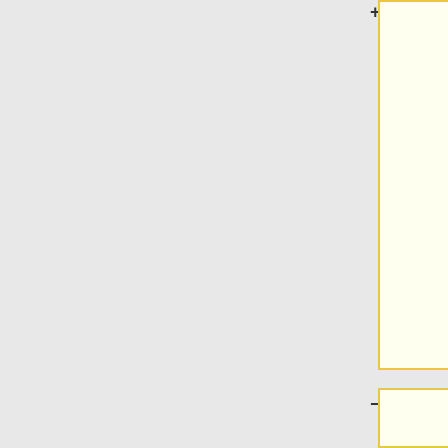page, and you'll likely find a few assets, but the game file has an extension of ".swf", and has a type of x-shockwave-flash in the table. Once you find the SWF, you can hover over it to see its URL and confirm that it ends in .swf. Right click the asset in the table and click Copy > Copy link address.